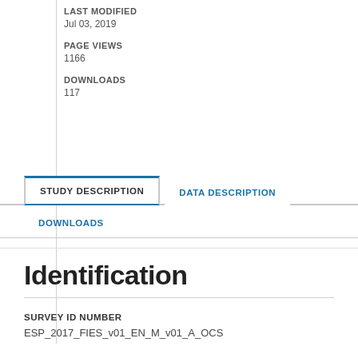LAST MODIFIED
Jul 03, 2019
PAGE VIEWS
1166
DOWNLOADS
117
STUDY DESCRIPTION
DATA DESCRIPTION
DOWNLOADS
Identification
SURVEY ID NUMBER
ESP_2017_FIES_v01_EN_M_v01_A_OCS